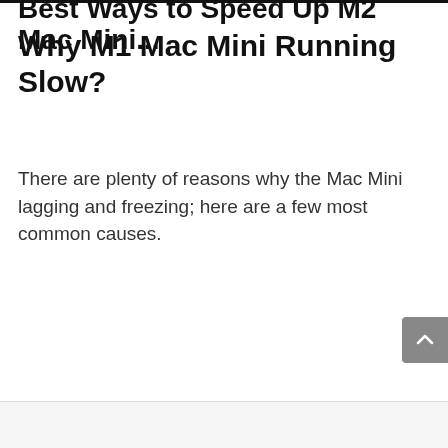Best Ways to Speed Up M2 Mac Mini...
Why M1 Mac Mini Running Slow?
There are plenty of reasons why the Mac Mini lagging and freezing; here are a few most common causes.